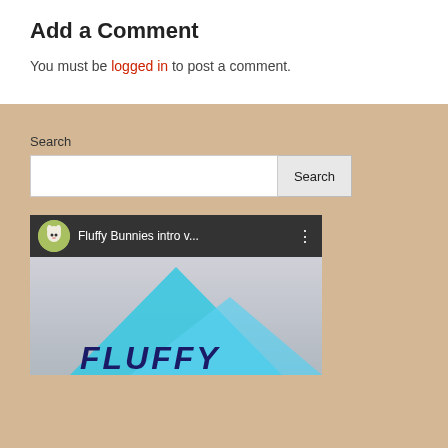Add a Comment
You must be logged in to post a comment.
Search
[Figure (screenshot): Search input box with Search button]
[Figure (screenshot): YouTube-style video thumbnail showing 'Fluffy Bunnies intro v...' with a bunny avatar, black top bar, and teal/cyan triangular logo shape with FLUFFY text at bottom]